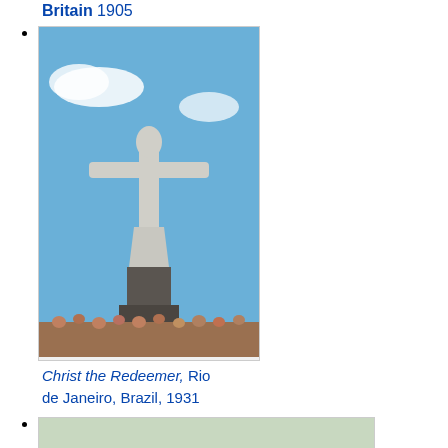Britain 1905
[Figure (photo): Photo of Christ the Redeemer statue in Rio de Janeiro, Brazil, against a blue sky with crowds below]
Christ the Redeemer, Rio de Janeiro, Brazil, 1931
[Figure (photo): Photo of the U.S. Marine Corps War Memorial with soldiers in formation and a flag raised]
U.S. Marine Corps War Memorial, located in